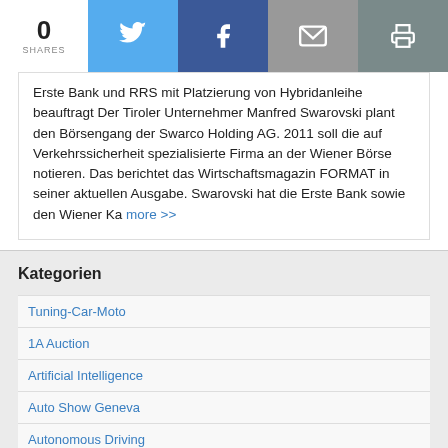0 SHARES [Twitter] [Facebook] [Email] [Print]
Erste Bank und RRS mit Platzierung von Hybridanleihe beauftragt Der Tiroler Unternehmer Manfred Swarovski plant den Börsengang der Swarco Holding AG. 2011 soll die auf Verkehrssicherheit spezialisierte Firma an der Wiener Börse notieren. Das berichtet das Wirtschaftsmagazin FORMAT in seiner aktuellen Ausgabe. Swarovski hat die Erste Bank sowie den Wiener Ka more >>
Kategorien
Tuning-Car-Moto
1A Auction
Artificial Intelligence
Auto Show Geneva
Autonomous Driving
Awards
eCarTec-Paris
Electric vehicles
Bikes
Data